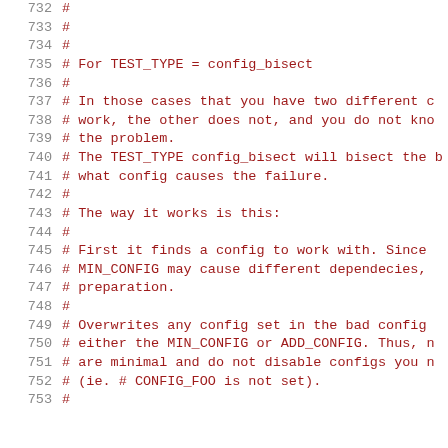732  #
733  #
734  #
735  # For TEST_TYPE = config_bisect
736  #
737  #  In those cases that you have two different c
738  #  work, the other does not, and you do not know
739  #  the problem.
740  #  The TEST_TYPE config_bisect will bisect the b
741  #  what config causes the failure.
742  #
743  #  The way it works is this:
744  #
745  #   First it finds a config to work with. Since
746  #   MIN_CONFIG may cause different dependecies,
747  #   preparation.
748  #
749  #   Overwrites any config set in the bad config
750  #   either the MIN_CONFIG or ADD_CONFIG. Thus, n
751  #   are minimal and do not disable configs you n
752  #   (ie.  # CONFIG_FOO is not set).
753  #